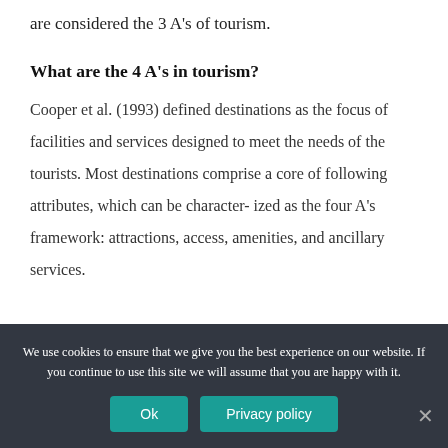are considered the 3 A's of tourism.
What are the 4 A's in tourism?
Cooper et al. (1993) defined destinations as the focus of facilities and services designed to meet the needs of the tourists. Most destinations comprise a core of following attributes, which can be character- ized as the four A's framework: attractions, access, amenities, and ancillary services.
What are the destination of…
We use cookies to ensure that we give you the best experience on our website. If you continue to use this site we will assume that you are happy with it.